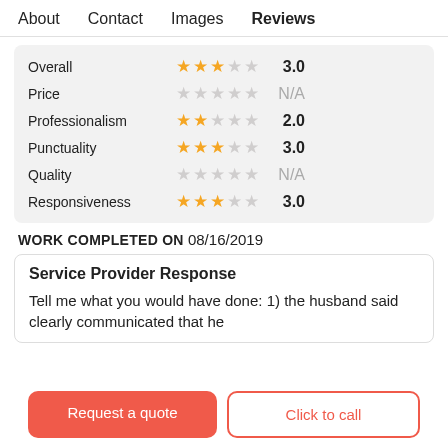About  Contact  Images  Reviews
| Category | Stars | Value |
| --- | --- | --- |
| Overall | 3 filled, 2 empty | 3.0 |
| Price | 0 filled, 5 empty | N/A |
| Professionalism | 2 filled, 3 empty | 2.0 |
| Punctuality | 3 filled, 2 empty | 3.0 |
| Quality | 0 filled, 5 empty | N/A |
| Responsiveness | 3 filled, 2 empty | 3.0 |
WORK COMPLETED ON 08/16/2019
Service Provider Response
Tell me what you would have done: 1) the husband said clearly communicated that he
Request a quote
Click to call